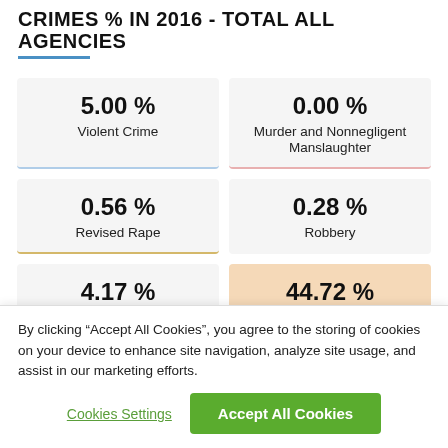CRIMES % IN 2016 - TOTAL ALL AGENCIES
| Metric | Value |
| --- | --- |
| Violent Crime | 5.00 % |
| Murder and Nonnegligent Manslaughter | 0.00 % |
| Revised Rape | 0.56 % |
| Robbery | 0.28 % |
| Aggravated Assault | 4.17 % |
| Property Crime | 44.72 % |
By clicking “Accept All Cookies”, you agree to the storing of cookies on your device to enhance site navigation, analyze site usage, and assist in our marketing efforts.
Cookies Settings
Accept All Cookies